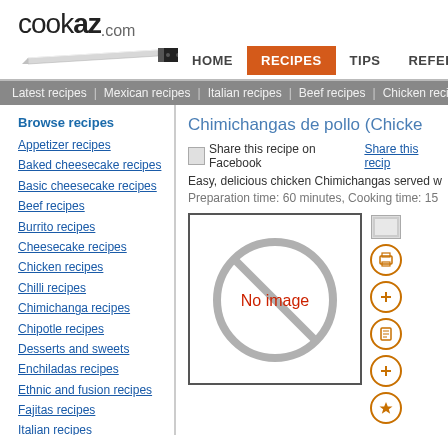cookaz.com
[Figure (illustration): Chef knife illustration, silver blade with black handle]
HOME | RECIPES | TIPS | REFERENCE
Latest recipes | Mexican recipes | Italian recipes | Beef recipes | Chicken recipes
Browse recipes
Appetizer recipes
Baked cheesecake recipes
Basic cheesecake recipes
Beef recipes
Burrito recipes
Cheesecake recipes
Chicken recipes
Chilli recipes
Chimichanga recipes
Chipotle recipes
Desserts and sweets
Enchiladas recipes
Ethnic and fusion recipes
Fajitas recipes
Italian recipes
Chimichangas de pollo (Chicke...
Share this recipe on Facebook Share this recip...
Easy, delicious chicken Chimichangas served with...
Preparation time: 60 minutes, Cooking time: 15 mi...
[Figure (photo): No image placeholder - circle with slash through it, red text 'No image']